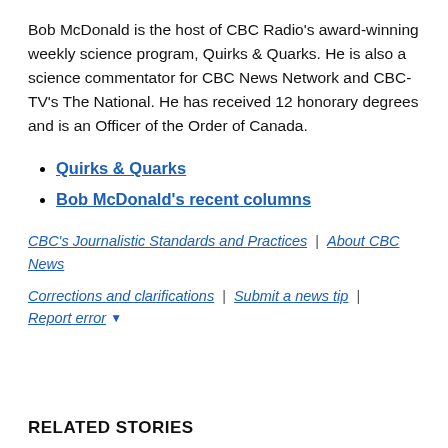Bob McDonald is the host of CBC Radio's award-winning weekly science program, Quirks & Quarks. He is also a science commentator for CBC News Network and CBC-TV's The National. He has received 12 honorary degrees and is an Officer of the Order of Canada.
Quirks & Quarks
Bob McDonald's recent columns
CBC's Journalistic Standards and Practices | About CBC News
Corrections and clarifications | Submit a news tip | Report error ▾
RELATED STORIES